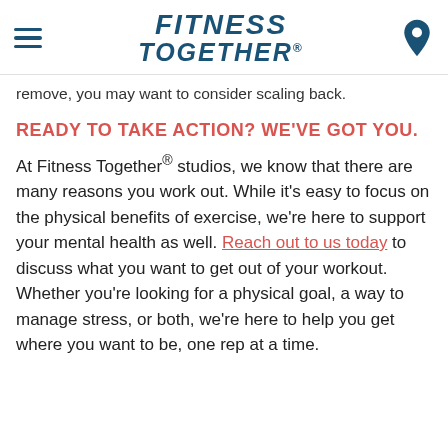FITNESS TOGETHER®
remove, you may want to consider scaling back.
READY TO TAKE ACTION? WE'VE GOT YOU.
At Fitness Together® studios, we know that there are many reasons you work out. While it's easy to focus on the physical benefits of exercise, we're here to support your mental health as well. Reach out to us today to discuss what you want to get out of your workout. Whether you're looking for a physical goal, a way to manage stress, or both, we're here to help you get where you want to be, one rep at a time.